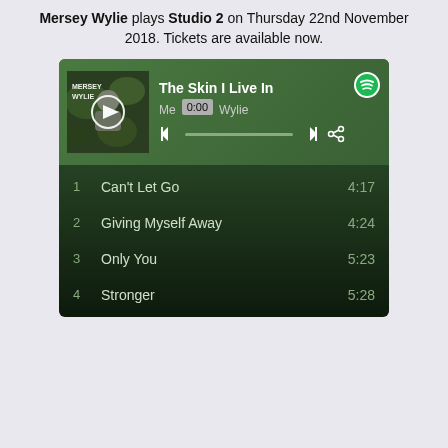Mersey Wylie plays Studio 2 on Thursday 22nd November 2018. Tickets are available now.
[Figure (screenshot): Spotify player showing album 'The Skin I Live In' by Mersey Wylie with tracklist: 1. Can't Let Go 4:17, 2. Giving Myself Away 4:24, 3. Only You 5:23, 4. Stronger 5:28]